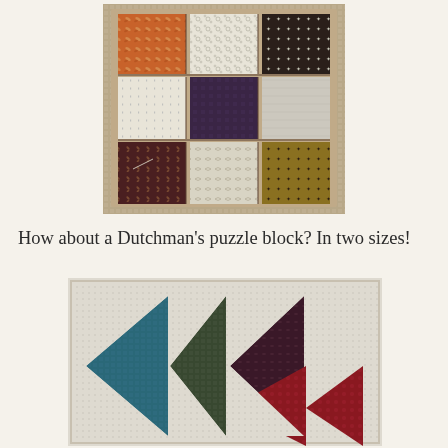[Figure (photo): A 3x3 quilt block layout showing nine fabric squares in various patterns: orange/leaf print, cream with circles, dark brown with snowflakes (top row); cream with blue crosses, dark purple, light gray (middle row); dark maroon with wheat motif, cream with scrollwork, golden tan with stars (bottom row), arranged on a textured background.]
How about a Dutchman’s puzzle block? In two sizes!
[Figure (photo): A Dutchman's Puzzle quilt block showing triangles in various fabrics: teal/blue, dark green, dark maroon/brown, and red/burgundy, arranged in a pinwheel pattern on a cream dotted background.]